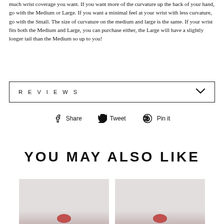much wrist coverage you want. If you want more of the curvature up the back of your hand, go with the Medium or Large. If you want a minimal feel at your wrist with less curvature, go with the Small. The size of curvature on the medium and large is the same. If your wrist fits both the Medium and Large, you can purchase either, the Large will have a slightly longer tail than the Medium so up to you!
REVIEWS
Share   Tweet   Pin it
YOU MAY ALSO LIKE
[Figure (photo): Product image thumbnail 1 with pinkish-red accent at bottom]
[Figure (photo): Product image thumbnail 2 with pinkish-red accent at bottom]